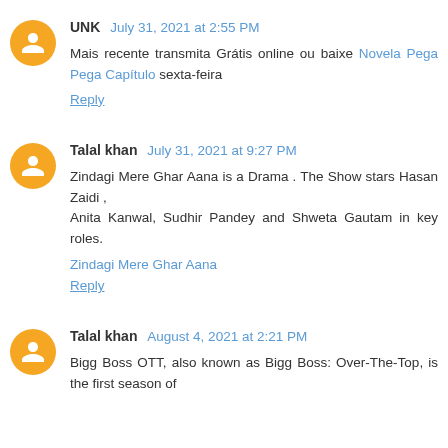UNK July 31, 2021 at 2:55 PM
Mais recente transmita Grátis online ou baixe Novela Pega Pega Capítulo sexta-feira
Reply
Talal khan July 31, 2021 at 9:27 PM
Zindagi Mere Ghar Aana is a Drama . The Show stars Hasan Zaidi ,
Anita Kanwal, Sudhir Pandey and Shweta Gautam in key roles.
Zindagi Mere Ghar Aana
Reply
Talal khan August 4, 2021 at 2:21 PM
Bigg Boss OTT, also known as Bigg Boss: Over-The-Top, is the first season of